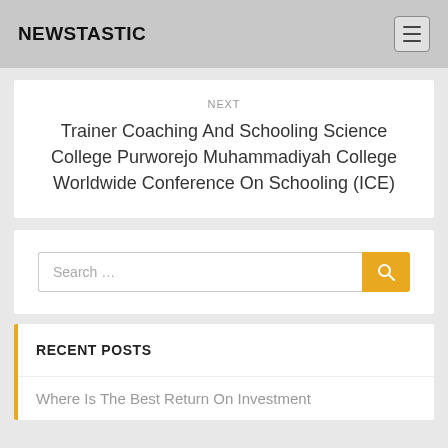NEWSTASTIC
NEXT
Trainer Coaching And Schooling Science College Purworejo Muhammadiyah College Worldwide Conference On Schooling (ICE)
Search …
RECENT POSTS
Where Is The Best Return On Investment